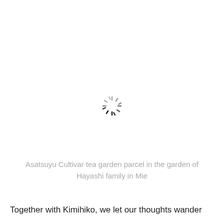[Figure (other): Loading spinner / circular progress indicator with radiating dashes arranged in a circle, partially dark and partially light gray, centered in the upper portion of the page]
Asatsuyu Cultivar tea garden parcel in the garden of Hayashi family in Mie
Together with Kimihiko, we let our thoughts wander